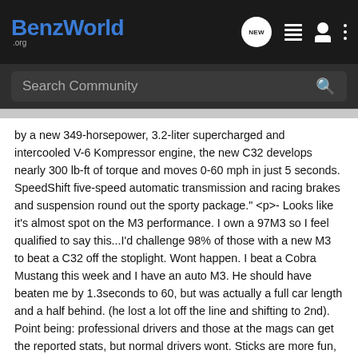BenzWorld .org
Search Community
by a new 349-horsepower, 3.2-liter supercharged and intercooled V-6 Kompressor engine, the new C32 develops nearly 300 lb-ft of torque and moves 0-60 mph in just 5 seconds. SpeedShift five-speed automatic transmission and racing brakes and suspension round out the sporty package." <p>- Looks like it's almost spot on the M3 performance. I own a 97M3 so I feel qualified to say this...I'd challenge 98% of those with a new M3 to beat a C32 off the stoplight. Wont happen. I beat a Cobra Mustang this week and I have an auto M3. He should have beaten me by 1.3seconds to 60, but was actually a full car length and a half behind. (he lost a lot off the line and shifting to 2nd). Point being: professional drivers and those at the mags can get the reported stats, but normal drivers wont. Sticks are more fun, but do lose a few races. Yes, I ordered a C32 AMG many, many months ago. <br>